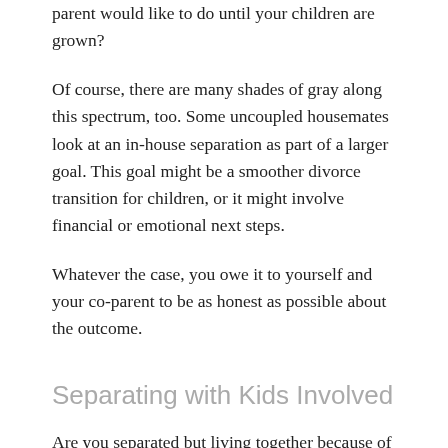parent would like to do until your children are grown?
Of course, there are many shades of gray along this spectrum, too. Some uncoupled housemates look at an in-house separation as part of a larger goal. This goal might be a smoother divorce transition for children, or it might involve financial or emotional next steps.
Whatever the case, you owe it to yourself and your co-parent to be as honest as possible about the outcome.
Separating with Kids Involved
Are you separated but living together because of a joint custody arrangement? You and your co-parent can make it work, at least for the short-term. However, you'll need to take steps to redefine your relationship and set